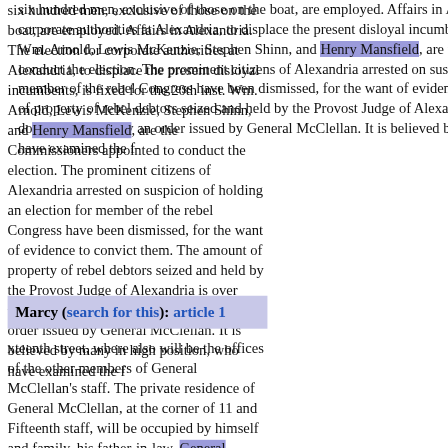six hundred men, exclusive of those on the boat, are employed. Affairs in Alexandria. The election for corporate authorities at Alexandria, to displace the present disloyal incumbents, is fixed for the 20th inst. Wm. Arnold, Lewis McKenzie, Stephen Shinn, and Henry Mansfield, are the Commissioners appointed to conduct the election. The prominent citizens of Alexandria arrested on suspicion of holding an election for member of the rebel Congress have been dismissed, for the want of evidence to convict them. The amount of property of rebel debtors seized and held by the Provost Judge of Alexandria is over twenty thousand dollars. It is held by an order issued by General McClellan. It is believed by many in high position, who have examined the f
Marcy (search for this): article 1
xteenth street, where also will be the offices of the other members of General McClellan's staff. The private residence of General McClellan, at the corner of 11 and Fifteenth staff, will be occupied by himself and family, his father-in-law, General Marcy, and his brother, Captain McClellan, who are also members of his staff. Colonel